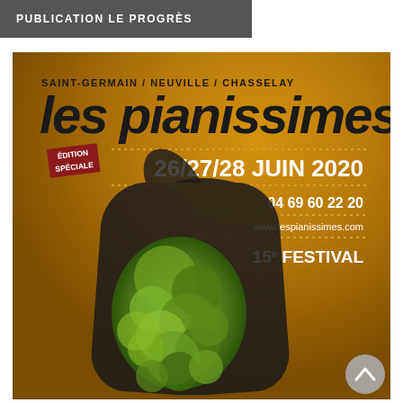PUBLICATION LE PROGRÈS
[Figure (illustration): Festival poster for Les Pianissimes — Saint-Germain / Neuville / Chasselay. Édition Spéciale, 26/27/28 Juin 2020. 04 69 60 22 20. www.lespianissimes.com. 15e Festival. Brown/amber background with aerial view of trees inside a grand piano silhouette shape.]